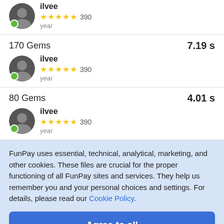[Figure (photo): Partial user listing at top: avatar of ilvee with green online dot, 5 yellow stars, 390 reviews, 'year' label]
170 Gems — 7.19 s — seller: ilvee, 5 stars, 390 reviews, year, online
80 Gems — 4.01 s — seller: ilvee, 5 stars, 390 reviews, year, online
FunPay uses essential, technical, analytical, marketing, and other cookies. These files are crucial for the proper functioning of all FunPay sites and services. They help us remember you and your personal choices and settings. For details, please read our Cookie Policy.
Agree to all
Options